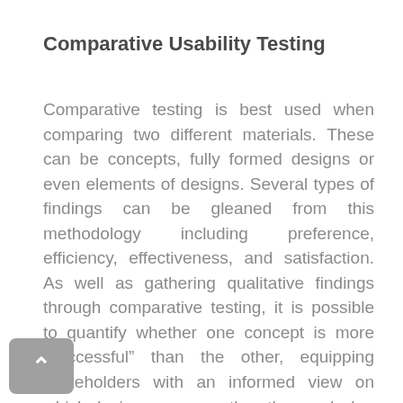Comparative Usability Testing
Comparative testing is best used when comparing two different materials. These can be concepts, fully formed designs or even elements of designs. Several types of findings can be gleaned from this methodology including preference, efficiency, effectiveness, and satisfaction. As well as gathering qualitative findings through comparative testing, it is possible to quantify whether one concept is more “successful” than the other, equipping stakeholders with an informed view on which design surpasses the other, and why.